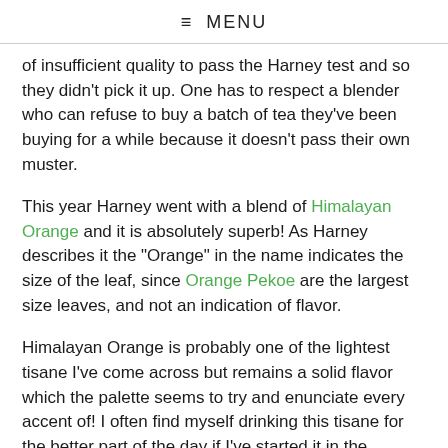≡ MENU
of insufficient quality to pass the Harney test and so they didn't pick it up. One has to respect a blender who can refuse to buy a batch of tea they've been buying for a while because it doesn't pass their own muster.
This year Harney went with a blend of Himalayan Orange and it is absolutely superb! As Harney describes it the "Orange" in the name indicates the size of the leaf, since Orange Pekoe are the largest size leaves, and not an indication of flavor.
Himalayan Orange is probably one of the lightest tisane I've come across but remains a solid flavor which the palette seems to try and enunciate every accent of! I often find myself drinking this tisane for the better part of the day if I've started it in the morning.
While I'm not yet talented enough to quage the lighter